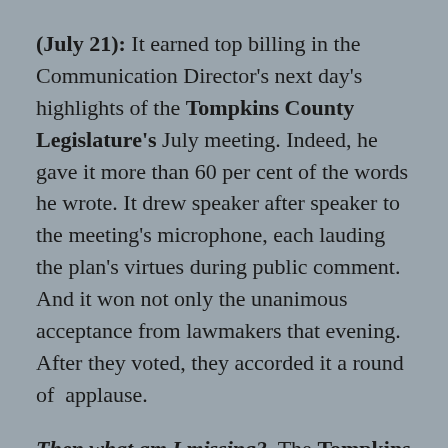(July 21): It earned top billing in the Communication Director's next day's highlights of the Tompkins County Legislature's July meeting. Indeed, he gave it more than 60 per cent of the words he wrote. It drew speaker after speaker to the meeting's microphone, each lauding the plan's virtues during public comment.  And it won not only the unanimous acceptance from lawmakers that evening.  After they voted, they accorded it a round of  applause.
Then what am I missing?  The Tompkins County Food System Plan, presented the Legislature Tuesday night, left me puzzled and also mentally famished.  I couldn't understand